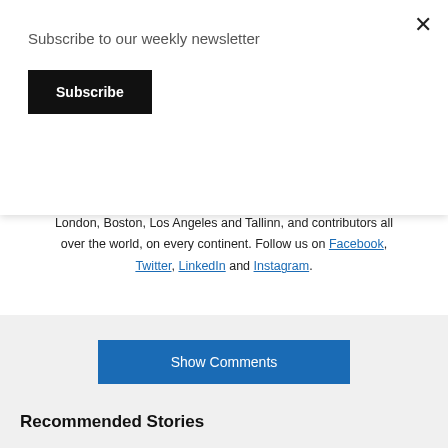Subscribe to our weekly newsletter
Subscribe
founded in London in 2012 and headquartered in Tallinn, Estonia. The magazine has editorial representations in London, Boston, Los Angeles and Tallinn, and contributors all over the world, on every continent. Follow us on Facebook, Twitter, LinkedIn and Instagram.
Show Comments
Recommended Stories